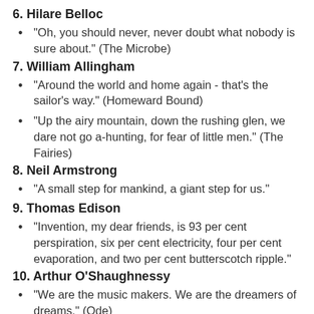6. Hilare Belloc
"Oh, you should never, never doubt what nobody is sure about." (The Microbe)
7. William Allingham
"Around the world and home again - that's the sailor's way." (Homeward Bound)
"Up the airy mountain, down the rushing glen, we dare not go a-hunting, for fear of little men." (The Fairies)
8. Neil Armstrong
"A small step for mankind, a giant step for us."
9. Thomas Edison
"Invention, my dear friends, is 93 per cent perspiration, six per cent electricity, four per cent evaporation, and two per cent butterscotch ripple."
10. Arthur O'Shaughnessy
"We are the music makers. We are the dreamers of dreams." (Ode)